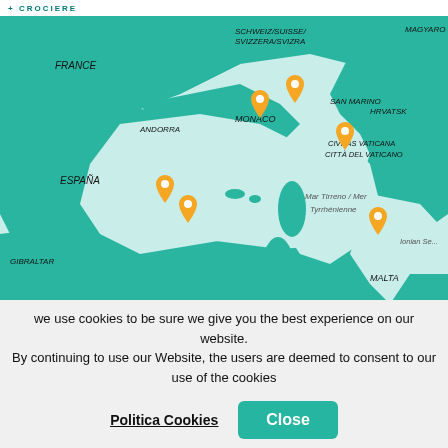CROCIERE
[Figure (map): Interactive map of the Western Mediterranean region showing countries including France, España, Andorra, Monaco, San Marino, Civitas Vaticana / Città del Vaticano, Malta, Gibraltar, and water bodies including Mar Tirreno / Mer Tyrrhénienne, Ionian Sea, and the Mediterranean. Six orange location pins are placed at various points along cruise route stops near Marseille/French Riviera, Monaco, Civitavecchia/Rome area, coastal Spain (two pins), and southern Italy. Map uses teal/turquoise color for land and light blue/white for sea. Attribution: © Stadia Maps, © OpenMapTiles, © OpenStreetMap]
Mediterranean
we use cookies to be sure we give you the best experience on our website. By continuing to use our Website, the users are deemed to consent to our use of the cookies
Politica Cookies   Close